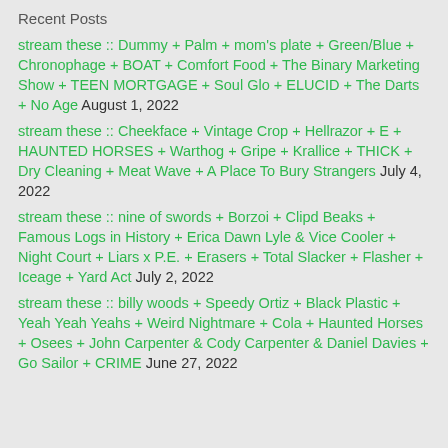Recent Posts
stream these :: Dummy + Palm + mom's plate + Green/Blue + Chronophage + BOAT + Comfort Food + The Binary Marketing Show + TEEN MORTGAGE + Soul Glo + ELUCID + The Darts + No Age August 1, 2022
stream these :: Cheekface + Vintage Crop + Hellrazor + E + HAUNTED HORSES + Warthog + Gripe + Krallice + THICK + Dry Cleaning + Meat Wave + A Place To Bury Strangers July 4, 2022
stream these :: nine of swords + Borzoi + Clipd Beaks + Famous Logs in History + Erica Dawn Lyle & Vice Cooler + Night Court + Liars x P.E. + Erasers + Total Slacker + Flasher + Iceage + Yard Act July 2, 2022
stream these :: billy woods + Speedy Ortiz + Black Plastic + Yeah Yeah Yeahs + Weird Nightmare + Cola + Haunted Horses + Osees + John Carpenter & Cody Carpenter & Daniel Davies + Go Sailor + CRIME June 27, 2022